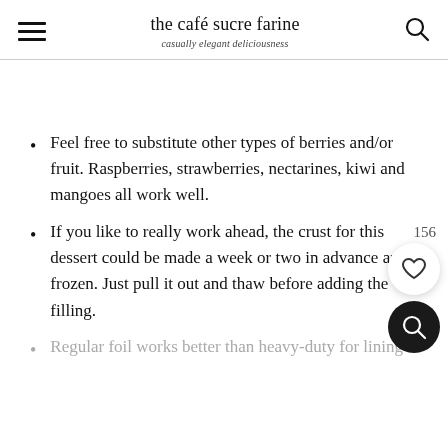the café sucre farine — casually elegant deliciousness
Feel free to substitute other types of berries and/or fruit. Raspberries, strawberries, nectarines, kiwi and mangoes all work well.
If you like to really work ahead, the crust for this dessert could be made a week or two in advance and frozen. Just pull it out and thaw before adding the filling.
Regular foil works better than heavy-duty for lining